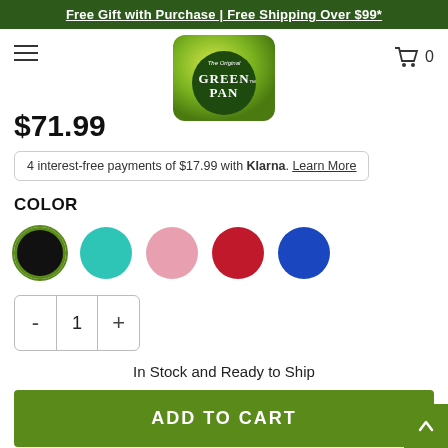Free Gift with Purchase | Free Shipping Over $99*
[Figure (logo): GreenPan logo: green gradient square with rounded corners, dark green circle with white GreenPan text]
$71.99
4 interest-free payments of $17.99 with Klarna. Learn More
COLOR
[Figure (other): Five color swatches: black (selected with green border), teal/turquoise, pink, red, blue]
[Figure (other): Quantity selector showing: - 1 +]
In Stock and Ready to Ship
ADD TO CART